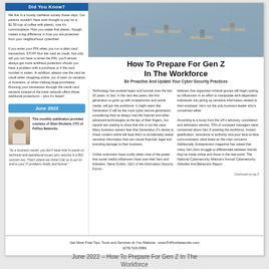Did You Know?
We live in a mostly cashless society these days. Our parents wouldn't have ever thought to pay for a $1.50 cup of coffee with plastic; now it's commonplace. How you swipe that plastic, though, makes a big difference in how you are protected from your neighborhood cyberthief.

If you enter your PIN when you run a debit card transaction, STOP! Run the card as credit. Not only will you not have to enter the PIN, you'll almost always get more antifraud protection should you have a problem with a purchase or if the card number is stolen. In addition, always use the card as credit when shopping online, out of town on vacation or business, or when making large purchases. Running your transaction through the credit card network instead of the bank network offers these additional protections – plus it's faster!
June 2022
This monthly publication provided courtesy of Shan Dholaria, CTO of PcPlus Networks
"As a business owner, you don't have time to waste on technical and operational issues plus security is a BIG concern too. That's where we shine! Call us to put an end to your IT problems finally and forever."
[Figure (photo): Aerial view of modern office workspace with people working at desks]
How To Prepare For Gen Z In The Workforce
Be Proactive And Update Your Cyber Security Practices
Technology has evolved leaps and bounds over the last 20 years. In fact, in the next few years, the first generation to grow up with smartphones and social media, will join the workforce. It might seem like Generation Z will be the most cyber-secure generation, considering they've always had the Internet and other advanced technologies at the tips of their fingers, but reports are starting to show that this is not the case. Many business owners fear that Generation Z's desire to share content online will lead them to accidentally reveal sensitive information that can cause financial, legal and branding damage to their business.

Online scammers have surely taken note of the power that social media influencers have over their fans and followers. Steve Durbin, CEO of the Information Security Forum,
believes that organized criminal groups will begin posing as influencers in an effort to manipulate tech-dependent individuals into giving up sensitive information related to their employer. He's not the only business leader who's concerned either.

According to a study from the UK's advisory, conciliation and arbitration service, 70% of surveyed managers were concerned about Gen Z entering the workforce. Instant gratification, resistance to authority and poor face-to-face communication were listed as the main concerns. Additionally, Entrepreneur magazine has stated that many Gen Zers struggle to differentiate between friends they've made online and those in the real world. The National Cybersecurity Alliance's Annual Cybersecurity Attitudes And Behaviors Report
Continued on pg 3
Get More Free Tips, Tools and Services At Our Website: www.PcPlusNetworks.com
(678) 523-5589
June 2022 – How To Prepare For Gen Z In The Workforce